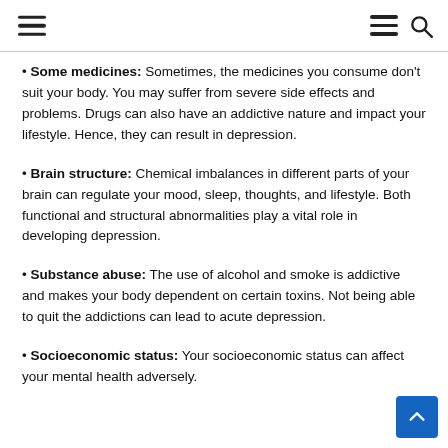Some medicines: Sometimes, the medicines you consume don't suit your body. You may suffer from severe side effects and problems. Drugs can also have an addictive nature and impact your lifestyle. Hence, they can result in depression.
Brain structure: Chemical imbalances in different parts of your brain can regulate your mood, sleep, thoughts, and lifestyle. Both functional and structural abnormalities play a vital role in developing depression.
Substance abuse: The use of alcohol and smoke is addictive and makes your body dependent on certain toxins. Not being able to quit the addictions can lead to acute depression.
Socioeconomic status: Your socioeconomic status can affect your mental health adversely.